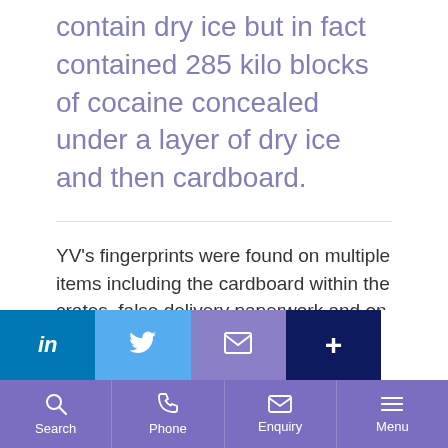contain dry ice but in fact contained 285 kilo blocks of cocaine concealed under a layer of dry ice and then cardboard.
YV's fingerprints were found on multiple items including the cardboard within the crates, false delivery paperwork and on the shrink-wrap that had been used to seal the crates. YV accepted swapping vans with the duped driver
[Figure (other): Social sharing bar with LinkedIn, Twitter, email, and plus icons]
Search | Phone | Enquiry | Menu